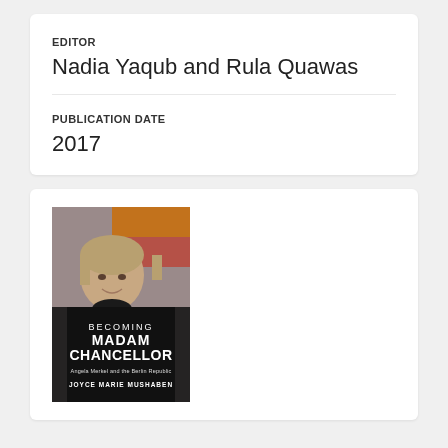EDITOR
Nadia Yaqub and Rula Quawas
PUBLICATION DATE
2017
[Figure (photo): Book cover of 'Becoming Madam Chancellor: Angela Merkel and the Berlin Republic' by Joyce Marie Mushaben. Shows a photo of Angela Merkel smiling, with the German flag colors in the background. Text on cover: BECOMING MADAM CHANCELLOR, Angela Merkel and the Berlin Republic, JOYCE MARIE MUSHABEN.]